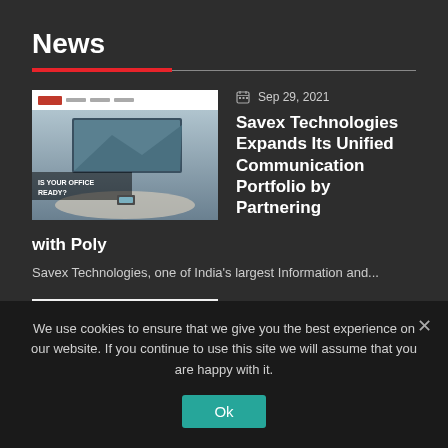News
[Figure (screenshot): Screenshot of a Poly website page showing a conference room with dual monitors and text 'IS YOUR OFFICE READY?']
Sep 29, 2021
Savex Technologies Expands Its Unified Communication Portfolio by Partnering with Poly
Savex Technologies, one of India's largest Information and...
[Figure (screenshot): White/blank image thumbnail for second news article]
Oct 29, 2021
Savex Technologies
We use cookies to ensure that we give you the best experience on our website. If you continue to use this site we will assume that you are happy with it.